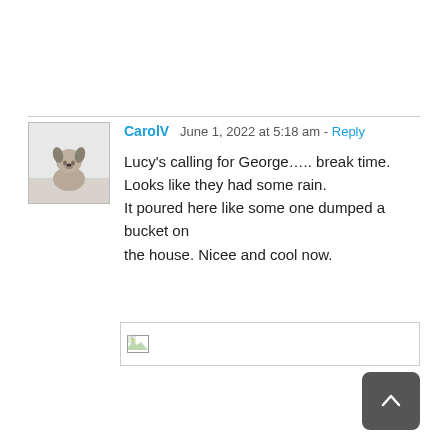CarolV   June 1, 2022 at 5:18 am - Reply
Lucy's calling for George….. break time.
Looks like they had some rain.
It poured here like some one dumped a bucket on the house. Nicee and cool now.
[Figure (photo): Broken image placeholder (failed to load image)]